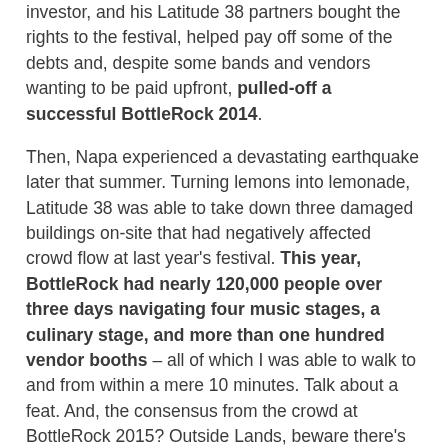investor, and his Latitude 38 partners bought the rights to the festival, helped pay off some of the debts and, despite some bands and vendors wanting to be paid upfront, pulled-off a successful BottleRock 2014.
Then, Napa experienced a devastating earthquake later that summer. Turning lemons into lemonade, Latitude 38 was able to take down three damaged buildings on-site that had negatively affected crowd flow at last year's festival. This year, BottleRock had nearly 120,000 people over three days navigating four music stages, a culinary stage, and more than one hundred vendor booths – all of which I was able to walk to and from within a mere 10 minutes. Talk about a feat. And, the consensus from the crowd at BottleRock 2015? Outside Lands, beware there's another Bay Area music festival on the rise!